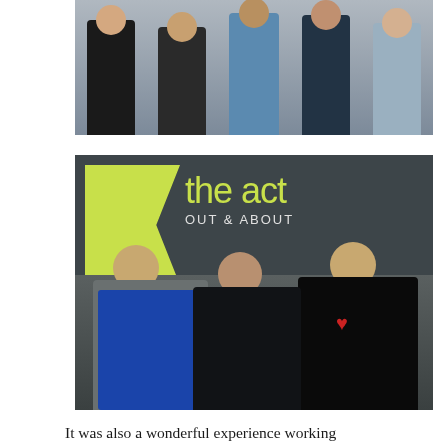[Figure (photo): Group photo of five men standing outdoors near a fence and van, wearing casual clothing including black jackets and blue shirts.]
[Figure (photo): Three people smiling in front of a sign reading 'the act OUT & ABOUT'. Left person wears a blue apron, center person wears black, right person wears a black shirt with a red heart logo.]
It was also a wonderful experience working